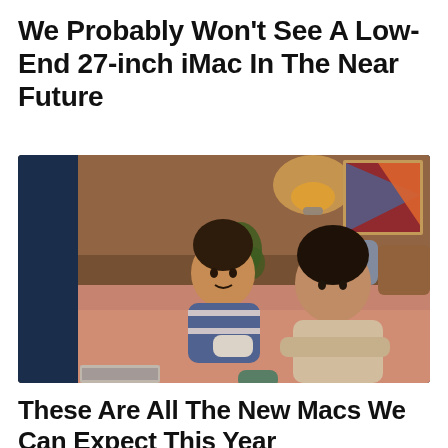We Probably Won't See A Low-End 27-inch iMac In The Near Future
[Figure (photo): A young boy and a woman lying on a bed watching something, in a warmly lit bedroom with a plant, colorful wall art, and pillows in the background.]
These Are All The New Macs We Can Expect This Year